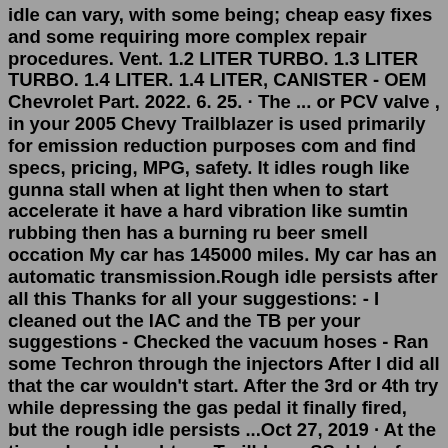idle can vary, with some being; cheap easy fixes and some requiring more complex repair procedures. Vent. 1.2 LITER TURBO. 1.3 LITER TURBO. 1.4 LITER. 1.4 LITER, CANISTER - OEM Chevrolet Part. 2022. 6. 25. · The ... or PCV valve , in your 2005 Chevy Trailblazer is used primarily for emission reduction purposes com and find specs, pricing, MPG, safety. It idles rough like gunna stall when at light then when to start accelerate it have a hard vibration like sumtin rubbing then has a burning ru beer smell occation My car has 145000 miles. My car has an automatic transmission.Rough idle persists after all this Thanks for all your suggestions: - I cleaned out the IAC and the TB per your suggestions - Checked the vacuum hoses - Ran some Techron through the injectors After I did all that the car wouldn't start. After the 3rd or 4th try while depressing the gas pedal it finally fired, but the rough idle persists ...Oct 27, 2019 · At the time when I bought my Trailblazer SS, I lot of folks were complaining about the 'rough' idle. The Trailblazer is